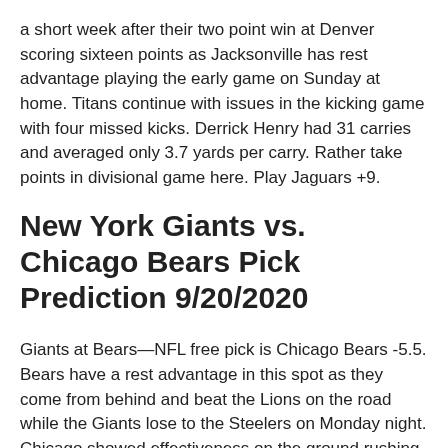a short week after their two point win at Denver scoring sixteen points as Jacksonville has rest advantage playing the early game on Sunday at home. Titans continue with issues in the kicking game with four missed kicks. Derrick Henry had 31 carries and averaged only 3.7 yards per carry. Rather take points in divisional game here. Play Jaguars +9.
New York Giants vs. Chicago Bears Pick Prediction 9/20/2020
Giants at Bears—NFL free pick is Chicago Bears -5.5. Bears have a rest advantage in this spot as they come from behind and beat the Lions on the road while the Giants lose to the Steelers on Monday night. Chicago showed effectiveness on the ground rushing for 5.3 yards per carry. Giants ran for only 29 yards on 20 carries. In their meeting last year Giants gained only 233 offensive yards in their loss. Chicago with no preseason got their offense on track